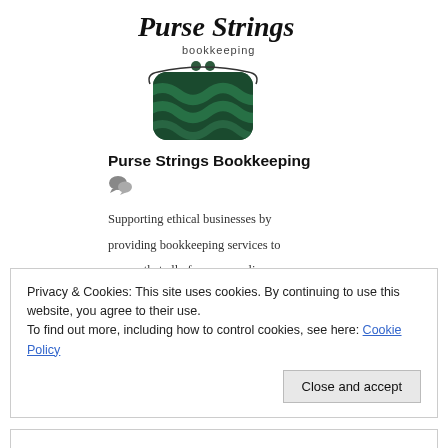[Figure (logo): Purse Strings Bookkeeping logo showing a decorative cursive text with a green purse/clutch bag illustration and the word 'bookkeeping' in small text]
Purse Strings Bookkeeping
[Figure (illustration): Small chat/speech bubble icon]
Supporting ethical businesses by providing bookkeeping services to ensure that all of your compliance and reporting needs are met. You
Read more...
Privacy & Cookies: This site uses cookies. By continuing to use this website, you agree to their use.
To find out more, including how to control cookies, see here: Cookie Policy
Close and accept